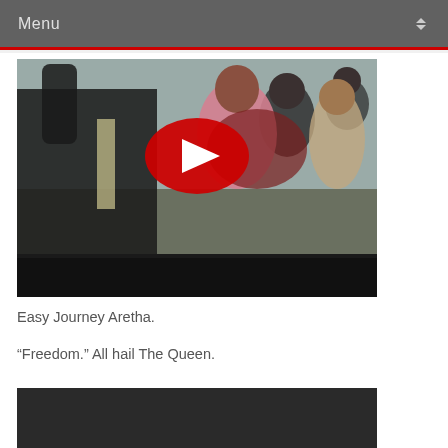Menu
[Figure (screenshot): YouTube video thumbnail showing people dancing/singing in a scene, with a YouTube play button overlay. Scene shows a woman in a pink dress and dark red shawl with others around her.]
Easy Journey Aretha.
“Freedom.” All hail The Queen.
[Figure (screenshot): Second video thumbnail, mostly black/dark background, partially visible at bottom of page.]